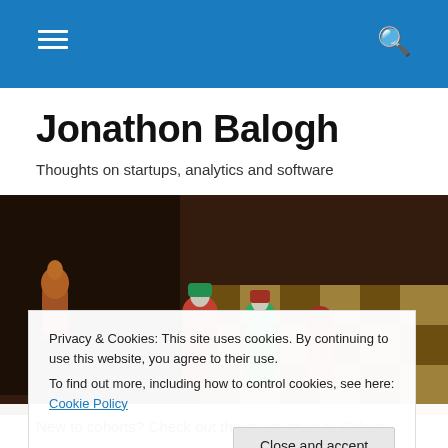Navigation bar with menu and search icons
Jonathon Balogh
Thoughts on startups, analytics and software
[Figure (photo): Close-up photo of decorative chess pieces on a wooden chessboard, with colorful figurines in red and green tones]
Privacy & Cookies: This site uses cookies. By continuing to use this website, you agree to their use.
To find out more, including how to control cookies, see here: Cookie Policy

Close and accept
New to cohorts? Check out the Introduction to Cohort